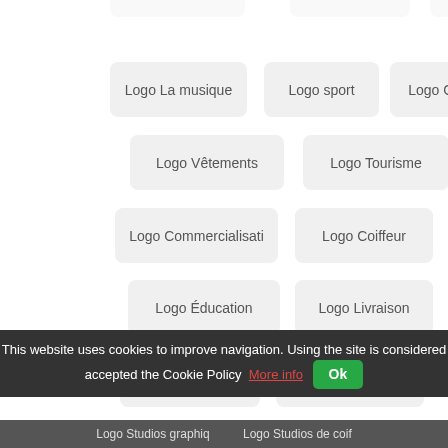Logo La musique
Logo sport
Logo Gens
Logo Vêtements
Logo Tourisme
Logo Commercialisati
Logo Coiffeur
Logo Éducation
Logo Livraison
Logo Voyage
Logo Agriculture
Logo Immobilier
Logo Restaurants
This website uses cookies to improve navigation. Using the site is considered accepted the Cookie Policy  More info  Ok
Logo Studios graphiq
Logo Studios de coif